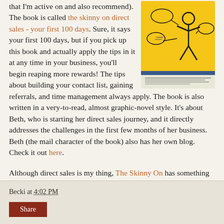that I'm active on and also recommend). The book is called the skinny on direct sales - your first 100 days. Sure, it says your first 100 days, but if you pick up this book and actually apply the tips in it at any time in your business, you'll begin reaping more rewards! The tips about building your contact list, gaining referrals, and time management always apply. The book is also written in a very-to-read, almost graphic-novel style. It's about Beth, who is starting her direct sales journey, and it directly addresses the challenges in the first few months of her business. Beth (the mail character of the book) also has her own blog. Check it out here.
[Figure (illustration): Book cover of 'the skinny on direct sales - your first 100 days' showing a stick figure with speech bubbles on a yellow background]
Although direct sales is my thing, The Skinny On has something for you on a variety of other topics as well including success, willpower, persuasion, real estate and time management. Check em out!
Becki at 4:02 PM | Share